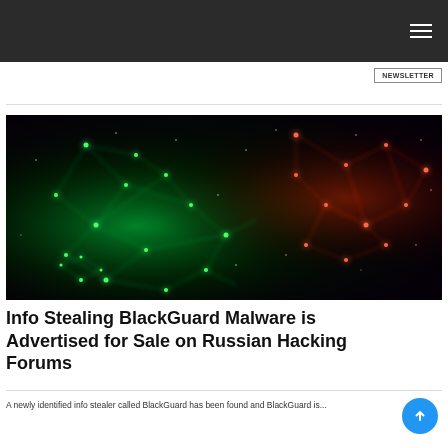[Figure (illustration): Dark abstract digital network visualization with glowing green and red neural/web-like interconnected nodes on a black background]
Info Stealing BlackGuard Malware is Advertised for Sale on Russian Hacking Forums
A newly identified info stealer called BlackGuard has been found...